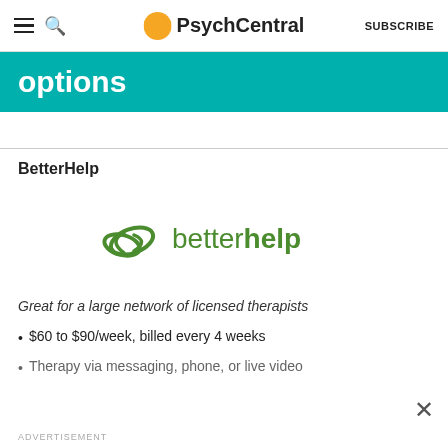PsychCentral — SUBSCRIBE
options
BetterHelp
[Figure (logo): BetterHelp logo with two interlinked leaves and the text 'betterhelp' in green]
Great for a large network of licensed therapists
$60 to $90/week, billed every 4 weeks
Therapy via messaging, phone, or live video
ADVERTISEMENT